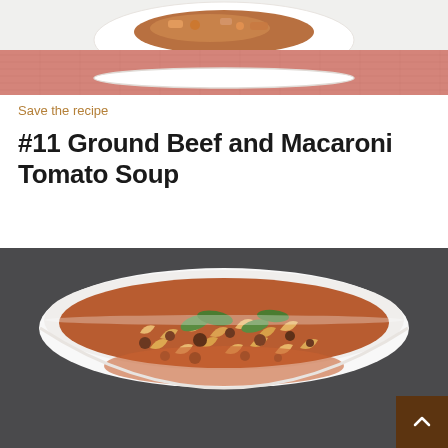[Figure (photo): Top portion of a dish served on a white plate with a salmon/coral colored cloth napkin underneath, showing cooked ground beef mixture with vegetables]
Save the recipe
#11 Ground Beef and Macaroni Tomato Soup
[Figure (photo): Close-up of a white bowl filled with Ground Beef and Macaroni Tomato Soup, showing macaroni pasta, ground beef, and fresh green herb garnish in a tomato broth]